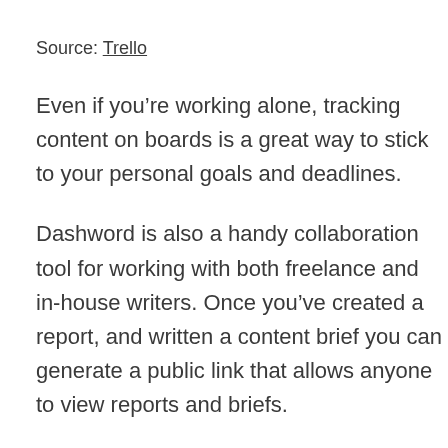Source: Trello
Even if you’re working alone, tracking content on boards is a great way to stick to your personal goals and deadlines.
Dashword is also a handy collaboration tool for working with both freelance and in-house writers. Once you’ve created a report, and written a content brief you can generate a public link that allows anyone to view reports and briefs.